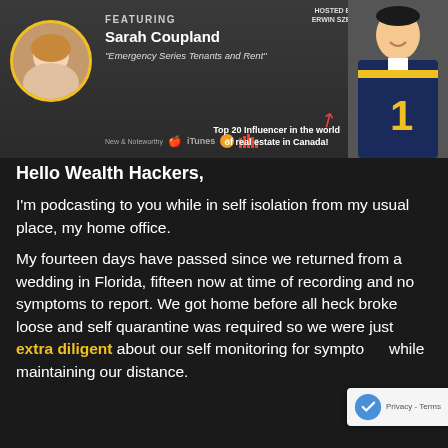[Figure (photo): Podcast banner featuring Sarah Coupland, titled 'Emergency Series Tenants and Rent'. Shows a woman in a yellow-bordered circular avatar on the left and a man in a sports jersey on the right. Hosted by Erwin Szeto. Marked as New & Noteworthy on iTunes and Stitcher. Text: Top 20 Influencer in the world of real estate in Canada!]
Hello Wealth Hackers,
I'm podcasting to you while in self isolation from my usual place, my home office.
My fourteen days have passed since we returned from a wedding in Florida, fifteen now at time of recording and no symptoms to report. We got home before all heck broke loose and self quarantine was required so we were just extra diligent about our self monitoring for symptoms while maintaining our distance.